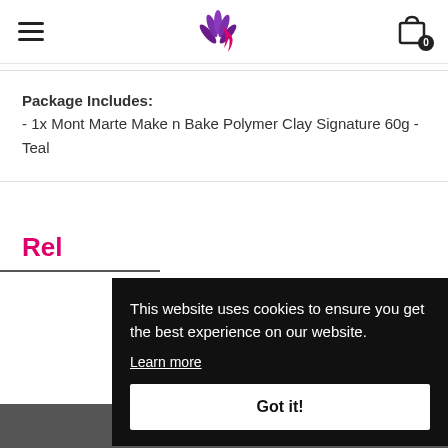Navigation header with hamburger menu, logo, and cart icon (0 items)
Package Includes:
- 1x Mont Marte Make n Bake Polymer Clay Signature 60g - Teal
Related items
This website uses cookies to ensure you get the best experience on our website.
Learn more
Got it!
Join Our Community